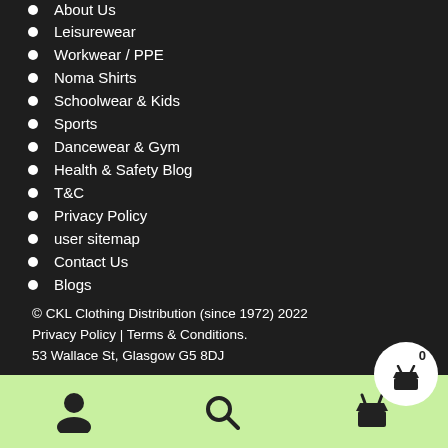About Us (partially visible)
Leisurewear
Workwear / PPE
Noma Shirts
Schoolwear & Kids
Sports
Dancewear & Gym
Health & Safety Blog
T&C
Privacy Policy
user sitemap
Contact Us
Blogs
© CKL Clothing Distribution (since 1972) 2022
Privacy Policy | Terms & Conditions.
53 Wallace St, Glasgow G5 8DJ